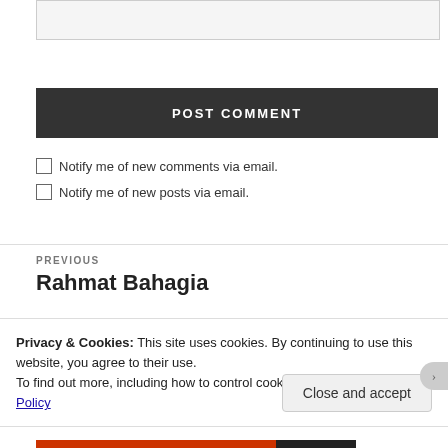[Figure (screenshot): Empty text input field with light gray background and border]
POST COMMENT
Notify me of new comments via email.
Notify me of new posts via email.
PREVIOUS
Rahmat Bahagia
Privacy & Cookies: This site uses cookies. By continuing to use this website, you agree to their use.
To find out more, including how to control cookies, see here: Cookie Policy
Close and accept